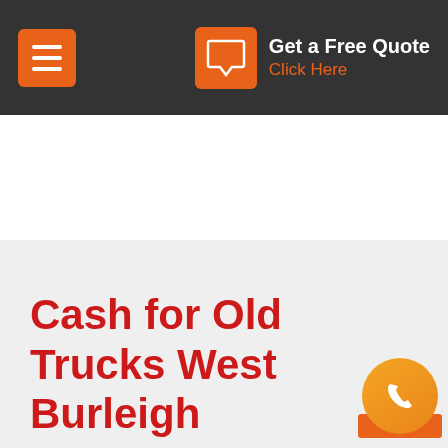Get a Free Quote Click Here
Cash for Old Trucks West Burleigh